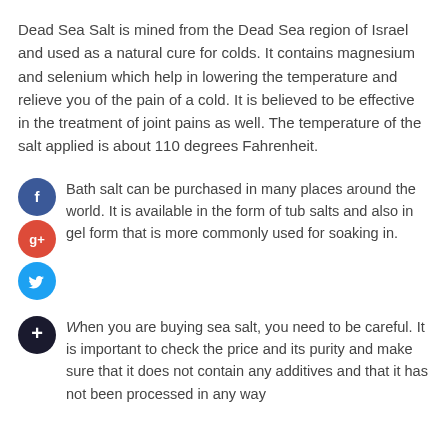Dead Sea Salt is mined from the Dead Sea region of Israel and used as a natural cure for colds. It contains magnesium and selenium which help in lowering the temperature and relieve you of the pain of a cold. It is believed to be effective in the treatment of joint pains as well. The temperature of the salt applied is about 110 degrees Fahrenheit.
Bath salt can be purchased in many places around the world. It is available in the form of tub salts and also in gel form that is more commonly used for soaking in.
When you are buying sea salt, you need to be careful. It is important to check the price and its purity and make sure that it does not contain any additives and that it has not been processed in any way...